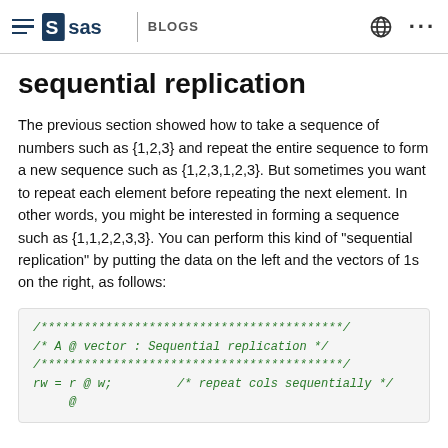SAS BLOGS
sequential replication
The previous section showed how to take a sequence of numbers such as {1,2,3} and repeat the entire sequence to form a new sequence such as {1,2,3,1,2,3}. But sometimes you want to repeat each element before repeating the next element. In other words, you might be interested in forming a sequence such as {1,1,2,2,3,3}. You can perform this kind of "sequential replication" by putting the data on the left and the vectors of 1s on the right, as follows:
[Figure (screenshot): SAS code block showing: /******************************************/ /* A @ vector : Sequential replication */ /******************************************/ rw = r @ w;   /* repeat cols sequentially */]